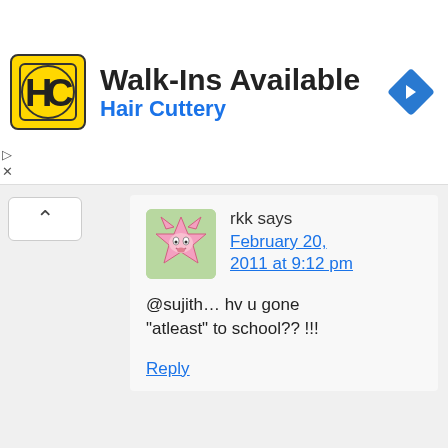[Figure (screenshot): Advertisement banner for Hair Cuttery showing logo, 'Walk-Ins Available' text, and a blue diamond navigation arrow icon]
rkk says
February 20, 2011 at 9:12 pm
@sujith… hv u gone "atleast" to school?? !!!
Reply
Pratik Shah says